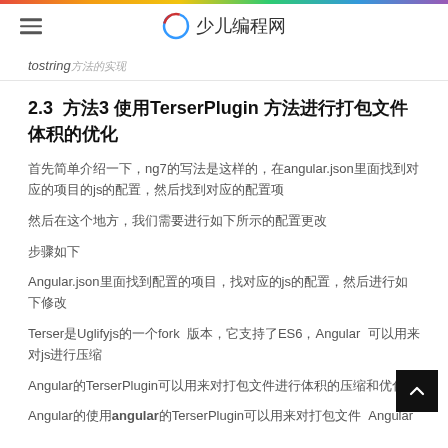少儿编程网
tostring方法的实现
2.3 方法3：使用TerserPlugin方法进行打包文件体积的优化
首先简单介绍一下，ng7的写法是这样的，在angular.json里面找到对应的项目的js的配置，然后找到对应的配置项
然后在这个地方，我们需要进行如下所示的配置更改
步骤如下
Angular.json里面找到配置的项目，找对应的js的配置，然后进行如下修改
Terser是Uglifyjs的一个fork 版本，它支持了ES6，Angular 可以用来对js进行压缩
Angular的TerserPlugin可以用来对打包文件进行体积的压缩和优化
Angular的使用angular的TerserPlugin可以用来对打包文件 Angular